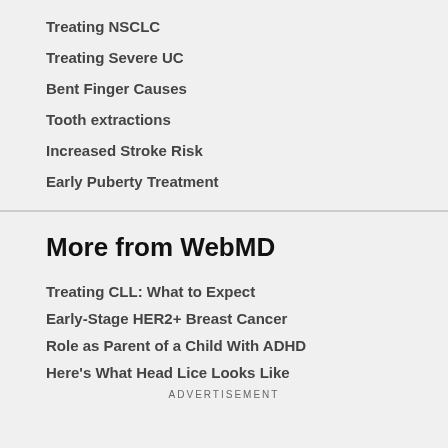Treating NSCLC
Treating Severe UC
Bent Finger Causes
Tooth extractions
Increased Stroke Risk
Early Puberty Treatment
More from WebMD
Treating CLL: What to Expect
Early-Stage HER2+ Breast Cancer
Role as Parent of a Child With ADHD
Here's What Head Lice Looks Like
ADVERTISEMENT